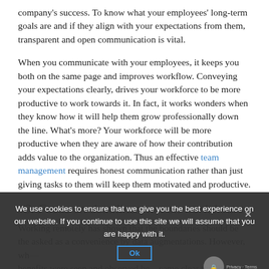company's success. To know what your employees' long-term goals are and if they align with your expectations from them, transparent and open communication is vital.
When you communicate with your employees, it keeps you both on the same page and improves workflow. Conveying your expectations clearly, drives your workforce to be more productive to work towards it. In fact, it works wonders when they know how it will help them grow professionally down the line. What's more? Your workforce will be more productive when they are aware of how their contribution adds value to the organization. Thus an effective team management requires honest communication rather than just giving tasks to them will keep them motivated and productive.
#3. Focus on deadlines, not on work hours
Working remotely has shown that the boundaries should be the asked as a convenience by data augmentations. However, wh... benefits were seen and observed became clear that it's more than that. The ultimate work-life balance is what everyone wants to
We use cookies to ensure that we give you the best experience on our website. If you continue to use this site we will assume that you are happy with it.